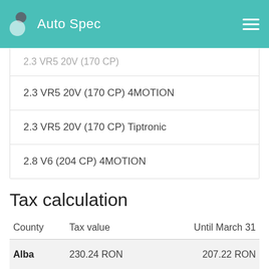Auto Spec
2.3 VR5 20V (170 CP)
2.3 VR5 20V (170 CP) 4MOTION
2.3 VR5 20V (170 CP) Tiptronic
2.8 V6 (204 CP) 4MOTION
Tax calculation
| County | Tax value | Until March 31 |
| --- | --- | --- |
| Alba | 230.24 RON | 207.22 RON |
| Arad | 230.24 RON | 218.73 RON |